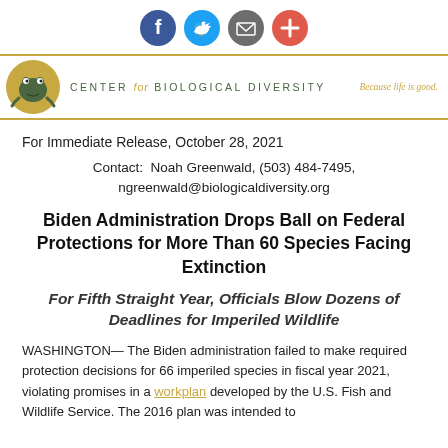[Figure (other): Social media sharing icons: Facebook (blue circle), Twitter (blue circle), Email/share (grey circle), Plus/more (red-orange circle)]
[Figure (logo): Center for Biological Diversity logo: gold circle with illustrated frog, green text 'CENTER for BIOLOGICAL DIVERSITY', gold italic tagline 'Because life is good.']
For Immediate Release, October 28, 2021
Contact:  Noah Greenwald, (503) 484-7495, ngreenwald@biologicaldiversity.org
Biden Administration Drops Ball on Federal Protections for More Than 60 Species Facing Extinction
For Fifth Straight Year, Officials Blow Dozens of Deadlines for Imperiled Wildlife
WASHINGTON— The Biden administration failed to make required protection decisions for 66 imperiled species in fiscal year 2021, violating promises in a workplan developed by the U.S. Fish and Wildlife Service. The 2016 plan was intended to